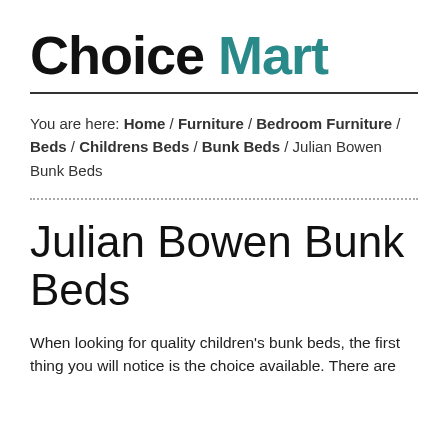Choice Mart
You are here: Home / Furniture / Bedroom Furniture / Beds / Childrens Beds / Bunk Beds / Julian Bowen Bunk Beds
Julian Bowen Bunk Beds
When looking for quality children's bunk beds, the first thing you will notice is the choice available. There are